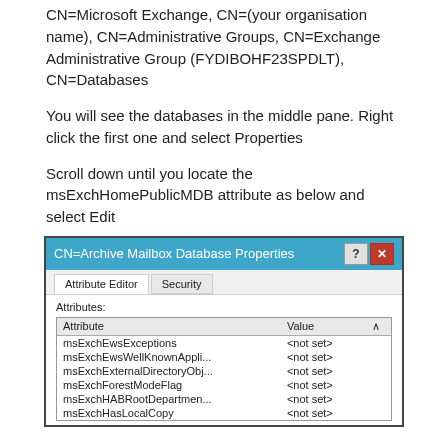CN=Microsoft Exchange, CN=(your organisation name), CN=Administrative Groups, CN=Exchange Administrative Group (FYDIBOHF23SPDLT), CN=Databases
You will see the databases in the middle pane. Right click the first one and select Properties
Scroll down until you locate the msExchHomePublicMDB attribute as below and select Edit
[Figure (screenshot): Windows dialog box titled 'CN=Archive Mailbox Database Properties' showing Attribute Editor and Security tabs. The Attribute Editor tab is active, showing a list of attributes and their values. Attributes listed include msExchEwsExceptions, msExchEwsWellKnownAppli..., msExchExternalDirectoryObj..., msExchForestModeFlag, msExchHABRootDepartmen..., msExchHasLocalCopy — all with value '<not set>'.]